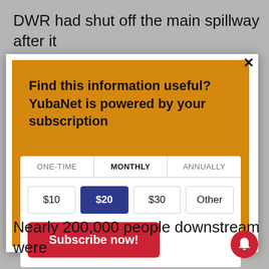DWR had shut off the main spillway after it
Find this information useful? YubaNet is powered by your subscription
| ONE-TIME | MONTHLY | ANNUALLY |
| --- | --- | --- |
| $10 | $20 | $30 | Other |
Subscribe now!
Nearly 200,000 people downstream were